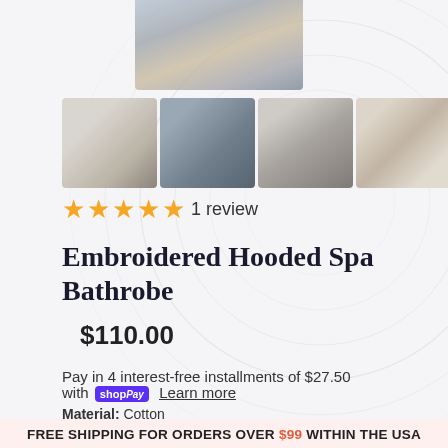[Figure (photo): Top portion of main product image of white hooded spa bathrobe, partially visible at top]
[Figure (photo): Row of 5 thumbnail product images showing the embroidered hooded spa bathrobe in various views and colors]
★★★★★ 1 review
Embroidered Hooded Spa Bathrobe
$110.00
Pay in 4 interest-free installments of $27.50 with shopPay Learn more
Material: Cotton
Season: Winter
Pattern Type: Solid
FREE SHIPPING FOR ORDERS OVER $99 WITHIN THE USA